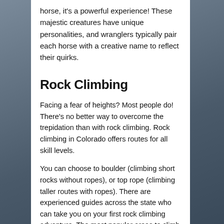horse, it's a powerful experience! These majestic creatures have unique personalities, and wranglers typically pair each horse with a creative name to reflect their quirks.
Rock Climbing
Facing a fear of heights? Most people do! There's no better way to overcome the trepidation than with rock climbing. Rock climbing in Colorado offers routes for all skill levels.
You can choose to boulder (climbing short rocks without ropes), or top rope (climbing taller routes with ropes). There are experienced guides across the state who can take you on your first rock climbing adventure. The most popular areas to climb in Colorado include Garden of the Gods, Rocky Mountain National Park, and Castlewood Canyon State Park, according to Colorado